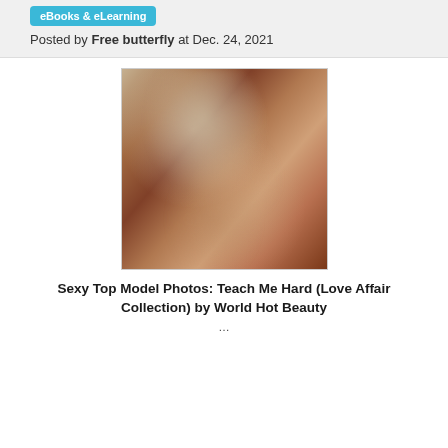eBooks & eLearning
Posted by Free butterfly at Dec. 24, 2021
[Figure (photo): Blurred book cover image with warm brown and beige tones, showing an indistinct figure or scene]
Sexy Top Model Photos: Teach Me Hard (Love Affair Collection) by World Hot Beauty
...